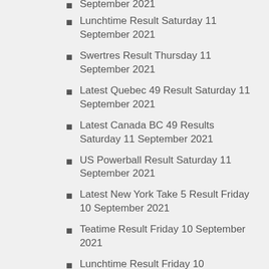September 2021
Lunchtime Result Saturday 11 September 2021
Swertres Result Thursday 11 September 2021
Latest Quebec 49 Result Saturday 11 September 2021
Latest Canada BC 49 Results Saturday 11 September 2021
US Powerball Result Saturday 11 September 2021
Latest New York Take 5 Result Friday 10 September 2021
Teatime Result Friday 10 September 2021
Lunchtime Result Friday 10 September 2021
Swertres Result Friday 10 September 2021
USA Mega Millions Result Friday 10